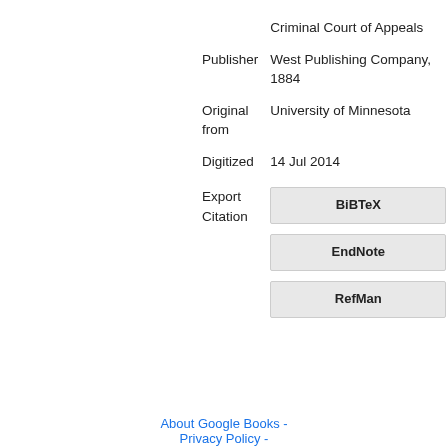|  | Criminal Court of Appeals |
| Publisher | West Publishing Company, 1884 |
| Original from | University of Minnesota |
| Digitized | 14 Jul 2014 |
| Export Citation | BiBTeX
EndNote
RefMan |
About Google Books - Privacy Policy -